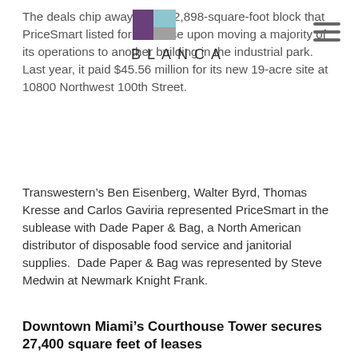BLANCA
The deals chip away at a 262,898-square-foot block that PriceSmart listed for sublease upon moving a majority of its operations to another building in the industrial park. Last year, it paid $45.56 million for its new 19-acre site at 10800 Northwest 100th Street.
Transwestern's Ben Eisenberg, Walter Byrd, Thomas Kresse and Carlos Gaviria represented PriceSmart in the sublease with Dade Paper & Bag, a North American distributor of disposable food service and janitorial supplies.  Dade Paper & Bag was represented by Steve Medwin at Newmark Knight Frank.
Downtown Miami's Courthouse Tower secures 27,400 square feet of leases